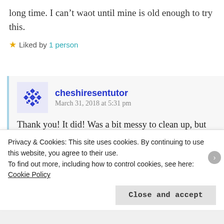long time. I can't waot until mine is old enough to try this.
Liked by 1 person
REPLY
cheshiresentutor
March 31, 2018 at 5:31 pm
Thank you! It did! Was a bit messy to clean up, but well worth it. How olds your Little one? Hope you don't have too long to wait
Privacy & Cookies: This site uses cookies. By continuing to use this website, you agree to their use.
To find out more, including how to control cookies, see here: Cookie Policy
Close and accept